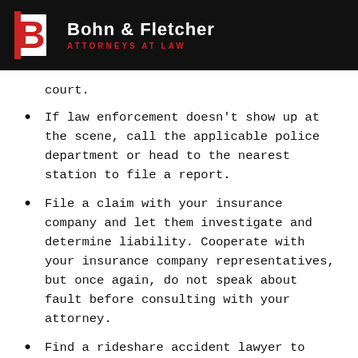Bohn & Fletcher Attorneys at Law
court.
If law enforcement doesn't show up at the scene, call the applicable police department or head to the nearest station to file a report.
File a claim with your insurance company and let them investigate and determine liability. Cooperate with your insurance company representatives, but once again, do not speak about fault before consulting with your attorney.
Find a rideshare accident lawyer to guide you through the claims process and take over all communications with